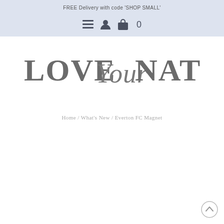FREE Delivery with code 'SHOP SMALL'
[Figure (logo): Navigation icons: hamburger menu, user account, shopping bag with count 0]
[Figure (logo): LOVE Your NATION logo in grey serif and script lettering]
Home / What's New / Everton FC Magnet